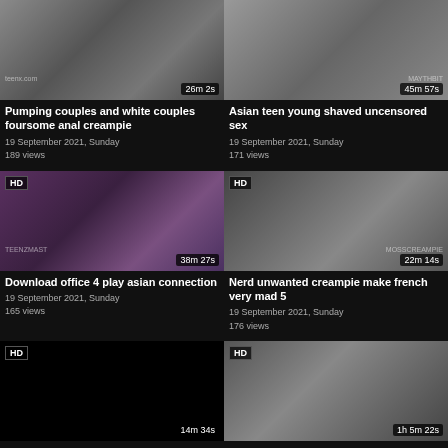[Figure (screenshot): Video thumbnail 1 - couples scene, duration 26m 2s]
Pumping couples and white couples foursome anal creampie
19 September 2021, Sunday
189 views
[Figure (screenshot): Video thumbnail 2 - asian teen scene, duration 45m 57s]
Asian teen young shaved uncensored sex
19 September 2021, Sunday
171 views
[Figure (screenshot): Video thumbnail 3 - HD office scene, duration 38m 27s, watermark TEENZMAST]
Download office 4 play asian connection
19 September 2021, Sunday
165 views
[Figure (screenshot): Video thumbnail 4 - HD creampie scene, duration 22m 14s]
Nerd unwanted creampie make french very mad 5
19 September 2021, Sunday
176 views
[Figure (screenshot): Video thumbnail 5 - HD dark/black thumbnail, duration 14m 34s]
[Figure (screenshot): Video thumbnail 6 - HD blonde scene, duration 1h 5m 22s]